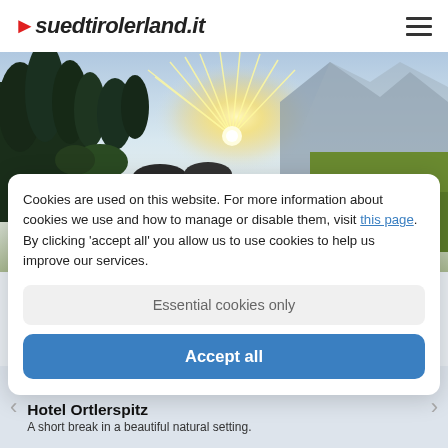suedtirolerland.it
[Figure (photo): Outdoor infinity pool with mountain and forest backdrop at sunset/sunrise, with sun rays bursting over rocky peaks. Two pod-like sun loungers visible near the pool edge, a person in the pool, and lush green meadow to the right.]
Cookies are used on this website. For more information about cookies we use and how to manage or disable them, visit this page. By clicking 'accept all' you allow us to use cookies to help us improve our services.
Essential cookies only
Accept all
★ ★ ★ S
Hotel Ortlerspitz
A short break in a beautiful natural setting.